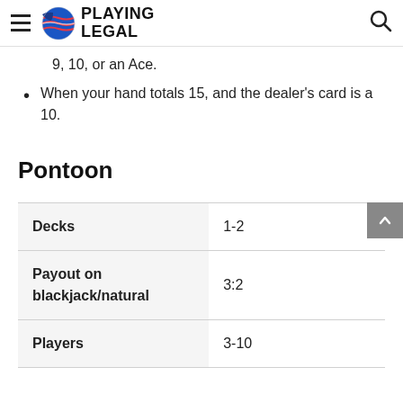PLAYING LEGAL
9, 10, or an Ace.
When your hand totals 15, and the dealer's card is a 10.
Pontoon
|  |  |
| --- | --- |
| Decks | 1-2 |
| Payout on blackjack/natural | 3:2 |
| Players | 3-10 |